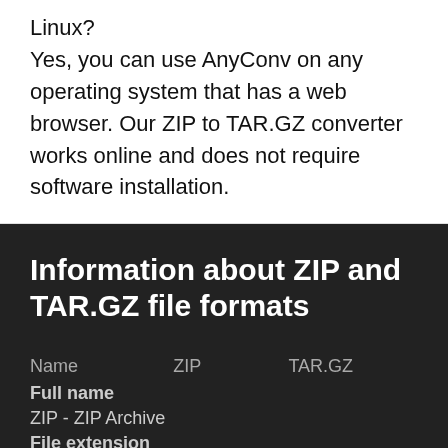Linux?
Yes, you can use AnyConv on any operating system that has a web browser. Our ZIP to TAR.GZ converter works online and does not require software installation.
Information about ZIP and TAR.GZ file formats
| Name | ZIP | TAR.GZ |
| --- | --- | --- |
| Full name |  |  |
| ZIP - ZIP Archive |  |  |
| File extension |  |  |